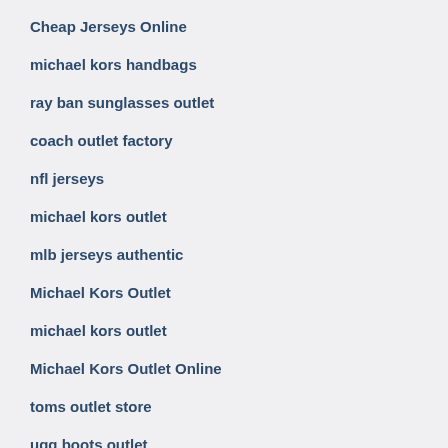Cheap Jerseys Online
michael kors handbags
ray ban sunglasses outlet
coach outlet factory
nfl jerseys
michael kors outlet
mlb jerseys authentic
Michael Kors Outlet
michael kors outlet
Michael Kors Outlet Online
toms outlet store
ugg boots outlet